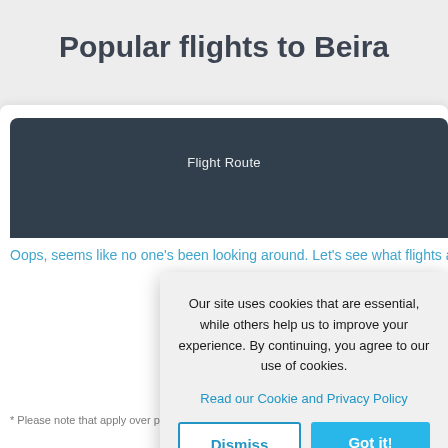Popular flights to Beira
Flight Route
Oops, seems like no one's been looking around. Let's see what flights are
Our site uses cookies that are essential, while others help us to improve your experience. By continuing, you agree to our use of cookies.
Read our Cookie and Privacy Policy
Dismiss
Got it!
* Please note that apply over peak season.